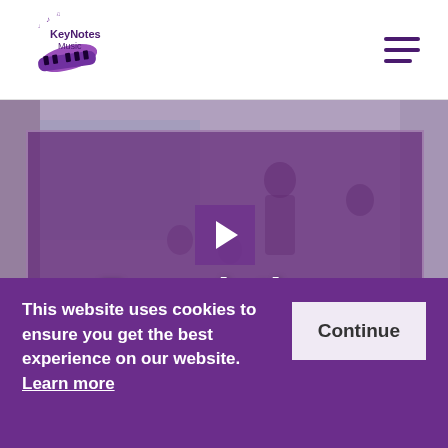[Figure (logo): KeyNotes Music logo with piano keys graphic and musical notes, purple and black text reading 'KeyNotes Music']
[Figure (photo): Classroom scene with children and a teacher, purple-tinted video overlay showing play button, with text 'Foundations' and 'to Music' overlaid]
This website uses cookies to ensure you get the best experience on our website. Learn more
Continue